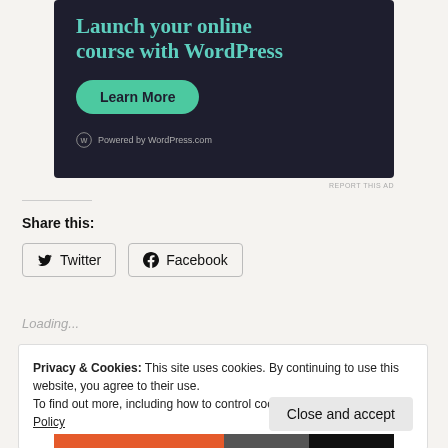[Figure (screenshot): Dark-themed advertisement banner for WordPress online course with teal heading text 'Launch your online course with WordPress', a green 'Learn More' button, and 'Powered by WordPress.com' footer text.]
REPORT THIS AD
Share this:
Twitter
Facebook
Loading...
Privacy & Cookies: This site uses cookies. By continuing to use this website, you agree to their use.
To find out more, including how to control cookies, see here: Cookie Policy
Close and accept